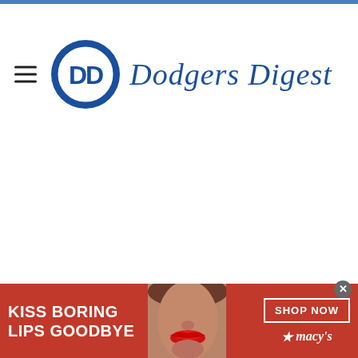[Figure (logo): Dodgers Digest logo with circular DD emblem and script text 'Dodgers Digest' in blue]
[Figure (photo): Advertisement banner at bottom: red background with woman's face showing red lips, text 'KISS BORING LIPS GOODBYE', 'SHOP NOW' button and Macy's logo]